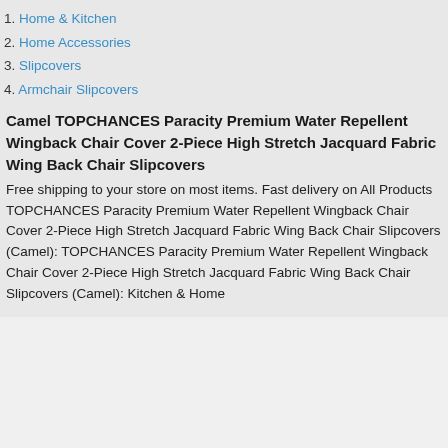1. Home & Kitchen
2. Home Accessories
3. Slipcovers
4. Armchair Slipcovers
Camel TOPCHANCES Paracity Premium Water Repellent Wingback Chair Cover 2-Piece High Stretch Jacquard Fabric Wing Back Chair Slipcovers
Free shipping to your store on most items. Fast delivery on All Products TOPCHANCES Paracity Premium Water Repellent Wingback Chair Cover 2-Piece High Stretch Jacquard Fabric Wing Back Chair Slipcovers (Camel): TOPCHANCES Paracity Premium Water Repellent Wingback Chair Cover 2-Piece High Stretch Jacquard Fabric Wing Back Chair Slipcovers (Camel): Kitchen & Home